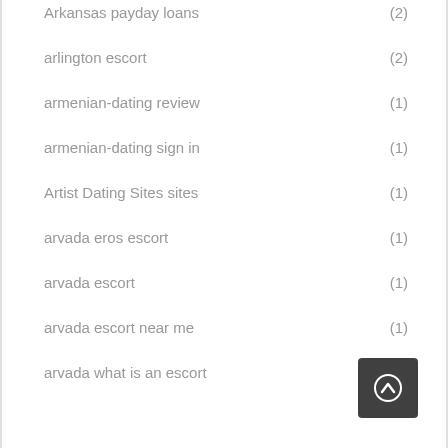Arkansas payday loans (2)
arlington escort (2)
armenian-dating review (1)
armenian-dating sign in (1)
Artist Dating Sites sites (1)
arvada eros escort (1)
arvada escort (1)
arvada escort near me (1)
arvada what is an escort